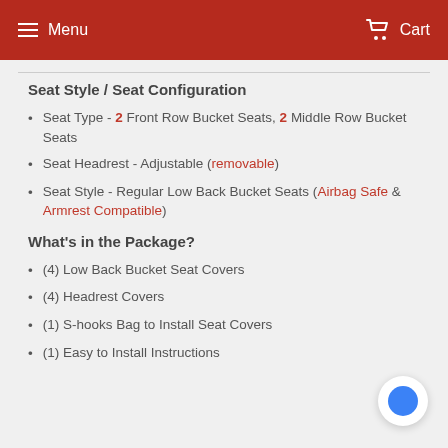Menu  Cart
Seat Style / Seat Configuration
Seat Type - 2 Front Row Bucket Seats, 2 Middle Row Bucket Seats
Seat Headrest - Adjustable (removable)
Seat Style - Regular Low Back Bucket Seats (Airbag Safe & Armrest Compatible)
What's in the Package?
(4) Low Back Bucket Seat Covers
(4) Headrest Covers
(1) S-hooks Bag to Install Seat Covers
(1) Easy to Install Instructions